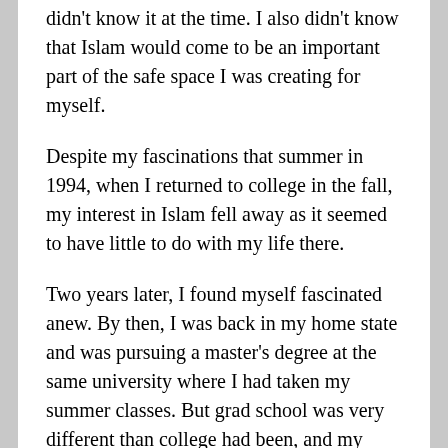didn't know it at the time. I also didn't know that Islam would come to be an important part of the safe space I was creating for myself.
Despite my fascinations that summer in 1994, when I returned to college in the fall, my interest in Islam fell away as it seemed to have little to do with my life there.
Two years later, I found myself fascinated anew. By then, I was back in my home state and was pursuing a master's degree at the same university where I had taken my summer classes. But grad school was very different than college had been, and my increasing alienation and isolation left me without a support system.
It was in the wake of grad school failing that I...